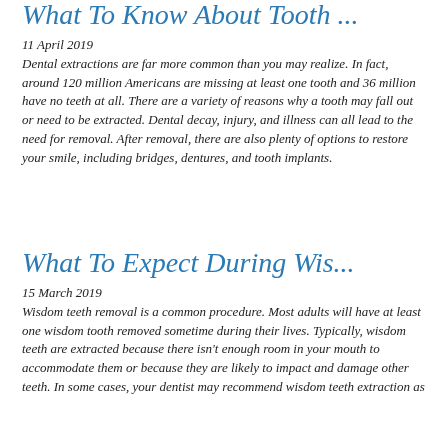What To Know About Tooth ...
11 April 2019
Dental extractions are far more common than you may realize. In fact, around 120 million Americans are missing at least one tooth and 36 million have no teeth at all. There are a variety of reasons why a tooth may fall out or need to be extracted. Dental decay, injury, and illness can all lead to the need for removal. After removal, there are also plenty of options to restore your smile, including bridges, dentures, and tooth implants.
What To Expect During Wis...
15 March 2019
Wisdom teeth removal is a common procedure. Most adults will have at least one wisdom tooth removed sometime during their lives. Typically, wisdom teeth are extracted because there isn't enough room in your mouth to accommodate them or because they are likely to impact and damage other teeth. In some cases, your dentist may recommend wisdom teeth extraction as